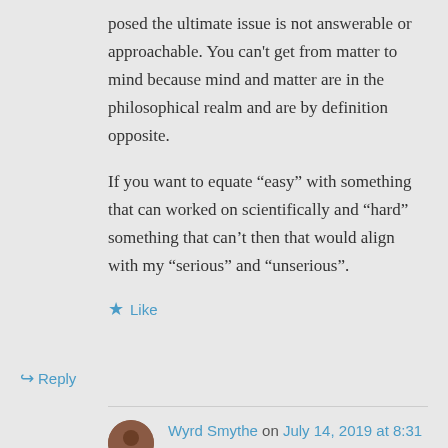posed the ultimate issue is not answerable or approachable. You can't get from matter to mind because mind and matter are in the philosophical realm and are by definition opposite.
If you want to equate “easy” with something that can worked on scientifically and “hard” something that can’t then that would align with my “serious” and “unserious”.
★ Like
↳ Reply
Wyrd Smythe on July 14, 2019 at 8:31 pm